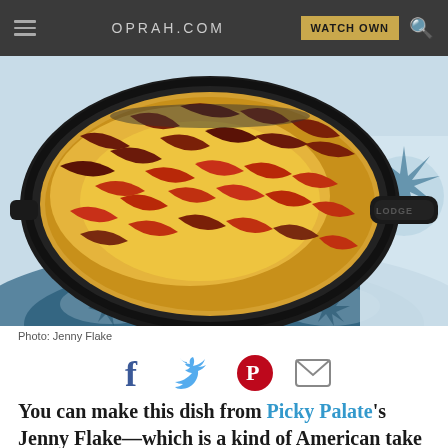OPRAH.COM
[Figure (photo): A cast iron Lodge skillet filled with a cheesy bacon fried rice dish, sitting on a floral blue and white cloth. The dish has crispy bacon bits on top of golden cheesy rice.]
Photo: Jenny Flake
[Figure (infographic): Social sharing icons: Facebook (blue f), Twitter (blue bird), Pinterest (red P circle), Email (grey envelope)]
You can make this dish from Picky Palate's Jenny Flake—which is a kind of American take on fried rice—